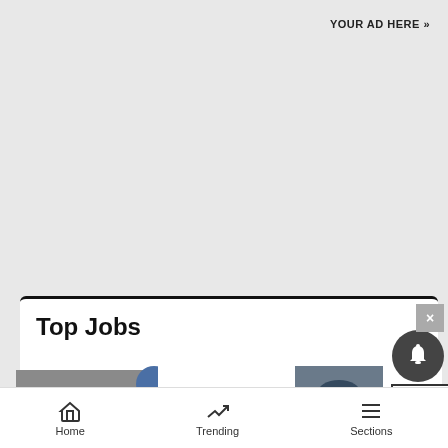YOUR AD HERE »
Top Jobs
[Figure (infographic): Bloomingdale's advertisement banner with woman wearing wide-brim hat, 'View Today's Top Deals!' text, and 'SHOP NOW >' button]
[Figure (other): Notification bell button (dark circular icon)]
[Figure (other): Close X button (gray square)]
Home
Trending
Sections